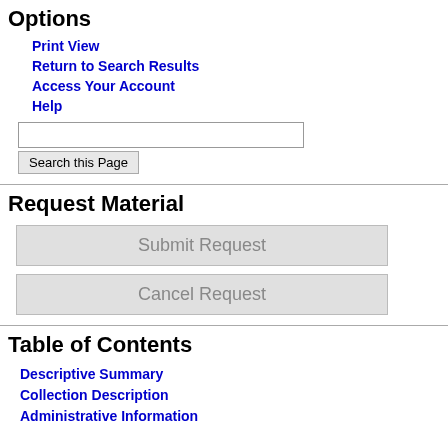Options
Print View
Return to Search Results
Access Your Account
Help
Request Material
Table of Contents
Descriptive Summary
Collection Description
Administrative Information
| 19 | 8 | , 19 |
| 19 | 9 | 198 |
| oversized_folder | item |  |
| 20 | 1 | artw |
| 20 | 2 | artw |
| 20 | 3 | artw |